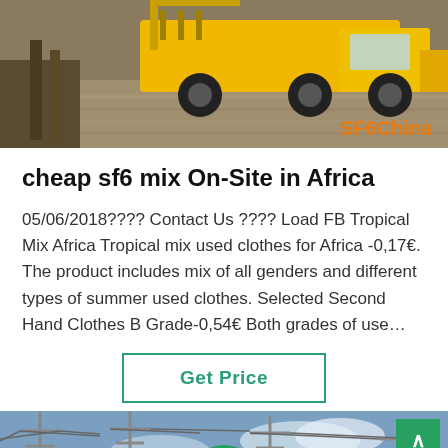[Figure (photo): Yellow truck/vehicle on gravel with SF6China watermark in orange text at bottom right]
cheap sf6 mix On-Site in Africa
05/06/2018???? Contact Us ???? Load FB Tropical Mix Africa Tropical mix used clothes for Africa -0,17€. The product includes mix of all genders and different types of summer used clothes. Selected Second Hand Clothes B Grade-0,54€ Both grades of use…
[Figure (other): Get Price button with teal border]
[Figure (photo): Power transmission towers/electrical substation against blue sky]
[Figure (other): Footer bar with Leave Message on left, customer service avatar in center, Chat Online on right]